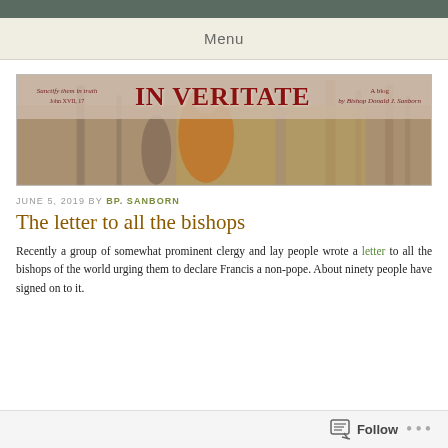Menu
[Figure (illustration): Blog header banner for 'IN VERITATE' — A blog by Bishop Donald J. Sanborn. Left side reads 'Sanctify them in truth John XVII, 17', center has large red text 'IN VERITATE', right side reads 'A blog by Bishop Donald J. Sanborn'. Background shows church altar scene with priests in vestments.]
JUNE 5, 2019 BY BP. SANBORN
The letter to all the bishops
Recently a group of somewhat prominent clergy and lay people wrote a letter to all the bishops of the world urging them to declare Francis a non-pope. About ninety people have signed on to it.